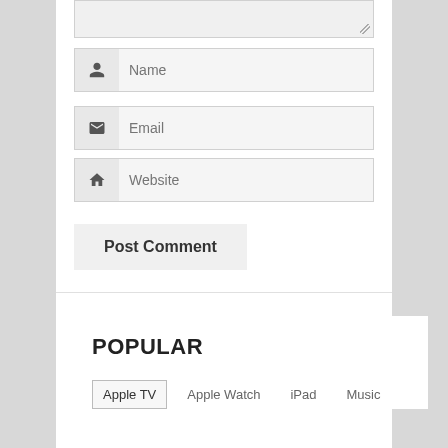[Figure (screenshot): Web comment form with Name, Email, Website input fields and Post Comment button]
POPULAR
Apple TV
Apple Watch
iPad
Music